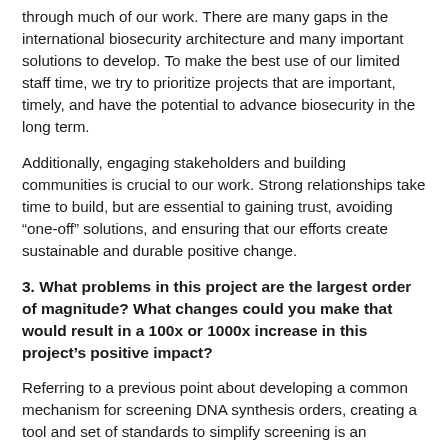through much of our work. There are many gaps in the international biosecurity architecture and many important solutions to develop. To make the best use of our limited staff time, we try to prioritize projects that are important, timely, and have the potential to advance biosecurity in the long term.
Additionally, engaging stakeholders and building communities is crucial to our work. Strong relationships take time to build, but are essential to gaining trust, avoiding “one-off” solutions, and ensuring that our efforts create sustainable and durable positive change.
3. What problems in this project are the largest order of magnitude? What changes could you make that would result in a 100x or 1000x increase in this project’s positive impact?
Referring to a previous point about developing a common mechanism for screening DNA synthesis orders, creating a tool and set of standards to simplify screening is an important first step to increasing the depth and